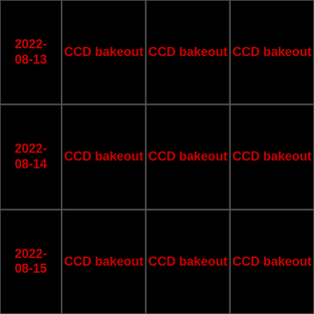| Date | Col1 | Col2 | Col3 |
| --- | --- | --- | --- |
| 2022-08-13 | CCD bakeout | CCD bakeout | CCD bakeout |
| 2022-08-14 | CCD bakeout | CCD bakeout | CCD bakeout |
| 2022-08-15 | CCD bakeout | CCD bakeout | CCD bakeout |